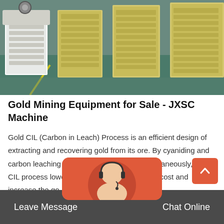[Figure (photo): Industrial jaw crusher machines in yellow color arranged in a factory floor with green-painted floor]
Gold Mining Equipment for Sale - JXSC Machine
Gold CIL (Carbon in Leach) Process is an efficient design of extracting and recovering gold from its ore. By cyaniding and carbon leaching crushed gold ore slurry simultaneously, the CIL process lowers the gold mining operation cost and increase the go...
[Figure (photo): Customer service representative chat widget with avatar]
Leave Message   Chat Online